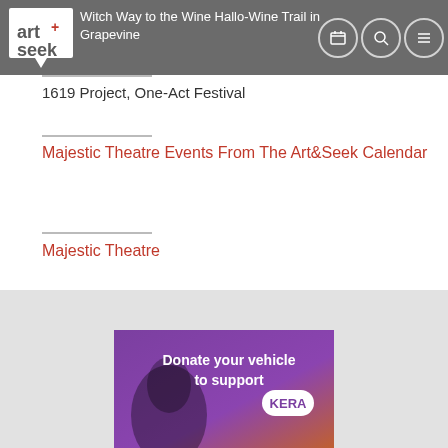Art&Seek navigation bar with logo and icons
Witch Way to the Wine Hallo-Wine Trail in Grapevine
1619 Project, One-Act Festival
Majestic Theatre Events From The Art&Seek Calendar
Majestic Theatre
[Figure (photo): Advertisement: Donate your vehicle to support KERA, showing a person with purple background]